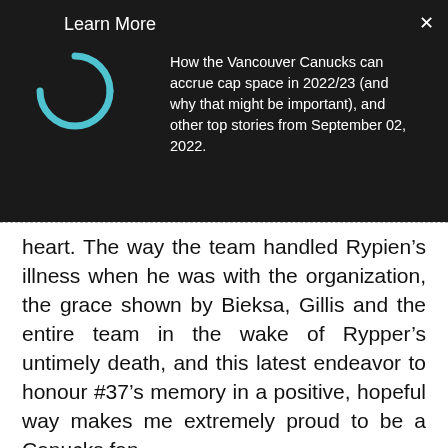Learn More
How the Vancouver Canucks can accrue cap space in 2022/23 (and why that might be important), and other top stories from September 02, 2022.
heart. The way the team handled Rypien’s illness when he was with the organization, the grace shown by Bieksa, Gillis and the entire team in the wake of Rypper’s untimely death, and this latest endeavor to honour #37’s memory in a positive, hopeful way makes me extremely proud to be a Canucks fan.
ADVERTISEMENT - CONTINUE READING BELOW